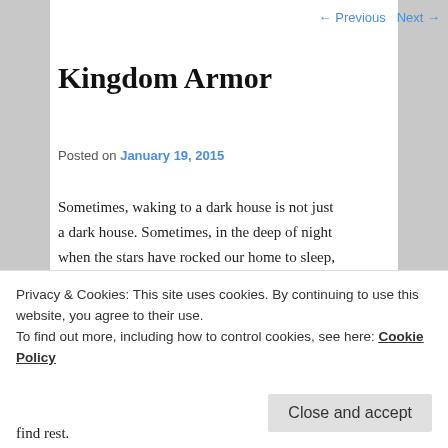← Previous   Next →
Kingdom Armor
Posted on January 19, 2015
Sometimes, waking to a dark house is not just a dark house. Sometimes, in the deep of night when the stars have rocked our home to sleep, a foe slips in. Melding into our dreams, it shapes them into nightmares, shaking us awake.
Privacy & Cookies: This site uses cookies. By continuing to use this website, you agree to their use.
To find out more, including how to control cookies, see here: Cookie Policy
Close and accept
find rest.